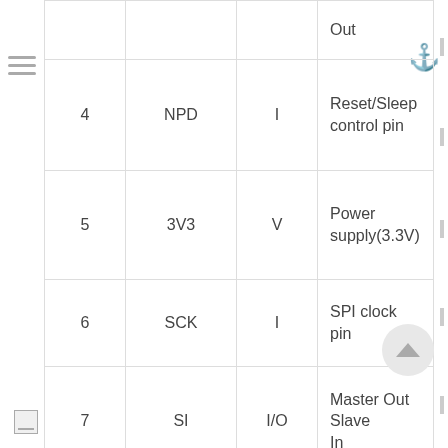| # | Name | Type | Description |
| --- | --- | --- | --- |
|  |  |  | Out |
| 4 | NPD | I | Reset/Sleep control pin |
| 5 | 3V3 | V | Power supply(3.3V) |
| 6 | SCK | I | SPI clock pin |
| 7 | SI | I/O | Master Out Slave In |
| 8 | IRQ | O | Interrupt output pin |